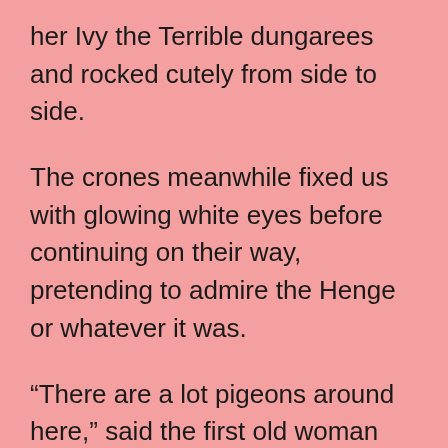her Ivy the Terrible dungarees and rocked cutely from side to side.
The crones meanwhile fixed us with glowing white eyes before continuing on their way, pretending to admire the Henge or whatever it was.
“There are a lot pigeons around here,” said the first old woman airily.
She said it to her sister but clearly meant for us to hear her.
“Yes,” said the second old woman, “And one or